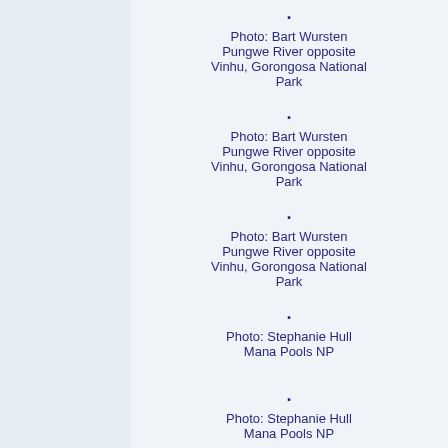Photo: Bart Wursten
Pungwe River opposite Vinhu, Gorongosa National Park
Photo: Bart Wursten
Pungwe River opposite Vinhu, Gorongosa National Park
Photo: Bart Wursten
Pungwe River opposite Vinhu, Gorongosa National Park
Photo: Stephanie Hull
Mana Pools NP
Photo: Stephanie Hull
Mana Pools NP